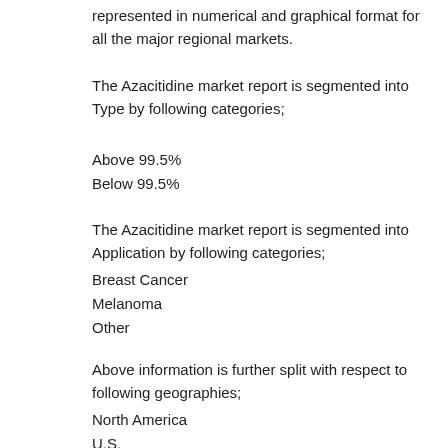represented in numerical and graphical format for all the major regional markets.
The Azacitidine market report is segmented into Type by following categories;
Above 99.5%
Below 99.5%
The Azacitidine market report is segmented into Application by following categories;
Breast Cancer
Melanoma
Other
Above information is further split with respect to following geographies;
North America
U.S.